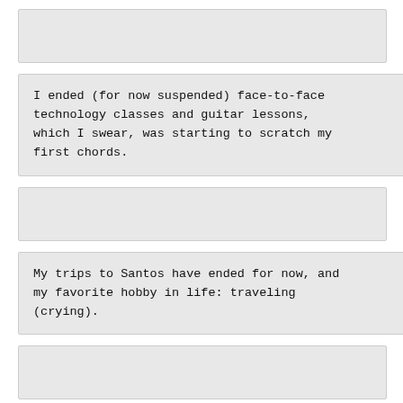[Figure (other): Empty gray box (content above visible area)]
I ended (for now suspended) face-to-face technology classes and guitar lessons, which I swear, was starting to scratch my first chords.
[Figure (other): Empty gray box]
My trips to Santos have ended for now, and my favorite hobby in life: traveling (crying).
[Figure (other): Empty gray box]
What do I have left, as a single girl in the city of São Paulo? Going to the...